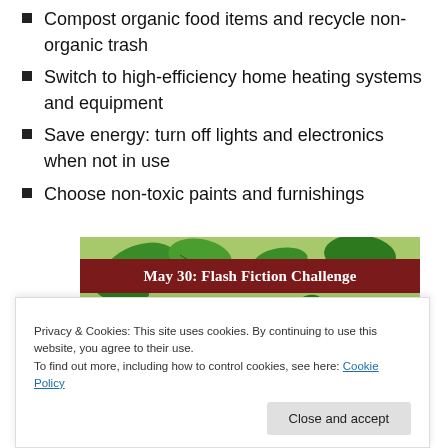Compost organic food items and recycle non-organic trash
Switch to high-efficiency home heating systems and equipment
Save energy: turn off lights and electronics when not in use
Choose non-toxic paints and furnishings
[Figure (photo): Banner image showing strawberries and green mint leaves with a dark red bar reading 'May 30: Flash Fiction Challenge']
Privacy & Cookies: This site uses cookies. By continuing to use this website, you agree to their use.
To find out more, including how to control cookies, see here: Cookie Policy